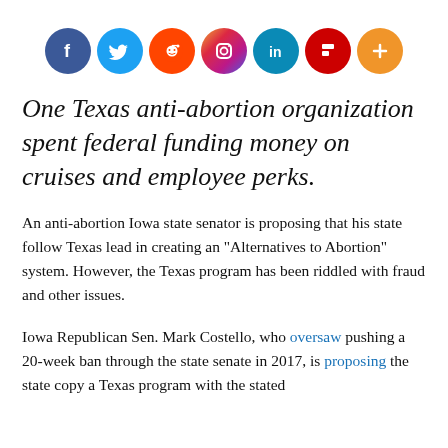[Figure (other): Row of seven social media sharing icon circles: Facebook (dark blue), Twitter (light blue), Reddit (orange-red), Instagram (gradient purple-orange), LinkedIn (teal-blue), Flipboard (red), and a plus/more button (orange)]
One Texas anti-abortion organization spent federal funding money on cruises and employee perks.
An anti-abortion Iowa state senator is proposing that his state follow Texas lead in creating an "Alternatives to Abortion" system. However, the Texas program has been riddled with fraud and other issues.
Iowa Republican Sen. Mark Costello, who oversaw pushing a 20-week ban through the state senate in 2017, is proposing the state copy a Texas program with the stated